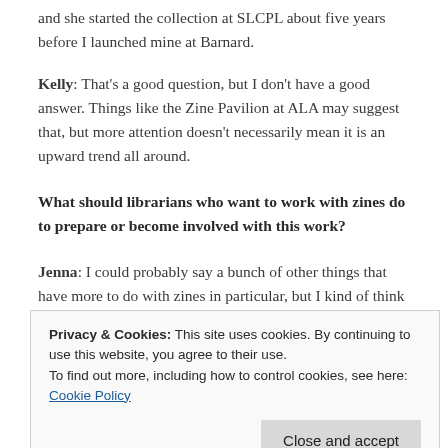and she started the collection at SLCPL about five years before I launched mine at Barnard.
Kelly: That’s a good question, but I don’t have a good answer. Things like the Zine Pavilion at ALA may suggest that, but more attention doesn’t necessarily mean it is an upward trend all around.
What should librarians who want to work with zines do to prepare or become involved with this work?
Jenna: I could probably say a bunch of other things that have more to do with zines in particular, but I kind of think the most
Privacy & Cookies: This site uses cookies. By continuing to use this website, you agree to their use.
To find out more, including how to control cookies, see here:
Cookie Policy
priests of Ireland. Or maybe I would have come up with